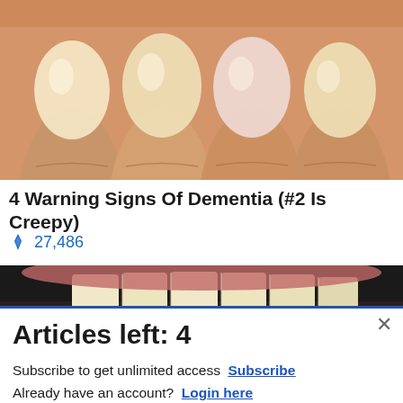[Figure (photo): Close-up photo of human fingernails/fingertips with yellowish tint]
4 Warning Signs Of Dementia (#2 Is Creepy)
🔥 27,486
[Figure (photo): Close-up photo of a person's mouth/teeth smiling]
[Figure (screenshot): Commissary Click2Go advertisement banner with green logo and Commissary circular badge]
Articles left: 4
Subscribe to get unlimited access  Subscribe
Already have an account?  Login here